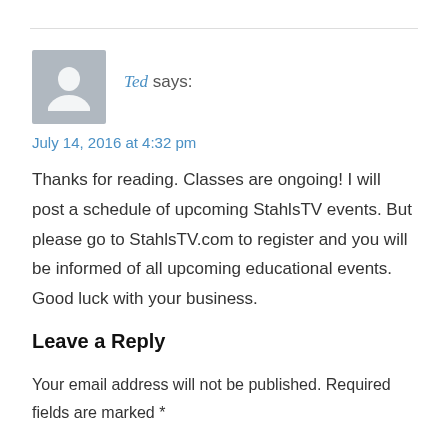Ted says:
July 14, 2016 at 4:32 pm
Thanks for reading. Classes are ongoing! I will post a schedule of upcoming StahlsTV events. But please go to StahlsTV.com to register and you will be informed of all upcoming educational events. Good luck with your business.
Leave a Reply
Your email address will not be published. Required fields are marked *